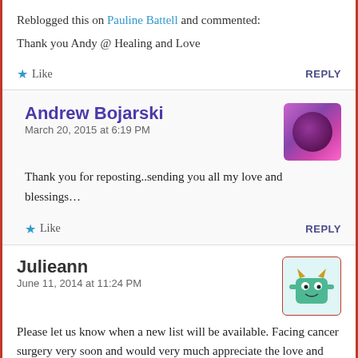Reblogged this on Pauline Battell and commented:
Thank you Andy @ Healing and Love
Like   REPLY
Andrew Bojarski
March 20, 2015 at 6:19 PM
Thank you for reposting..sending you all my love and blessings...
Like   REPLY
Julieann
June 11, 2014 at 11:24 PM
Please let us know when a new list will be available. Facing cancer surgery very soon and would very much appreciate the love and support.